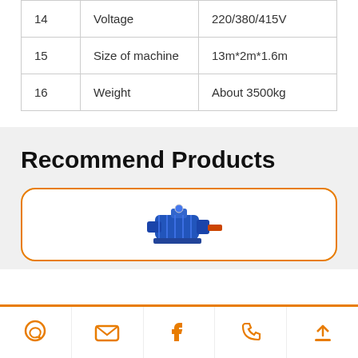|  |  |  |
| --- | --- | --- |
| 14 | Voltage | 220/380/415V |
| 15 | Size of machine | 13m*2m*1.6m |
| 16 | Weight | About 3500kg |
Recommend Products
[Figure (photo): Blue electric motor/pump product image inside an orange-bordered card]